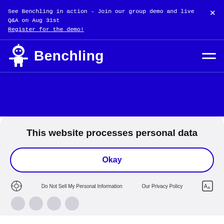See Benchling in action - Join our group demo and live Q&A on Aug 31st
Register for the demo!
[Figure (logo): Benchling logo with robot/scientist mascot icon and wordmark in white on blue background]
This website processes personal data
Okay
Do Not Sell My Personal Information   Our Privacy Policy